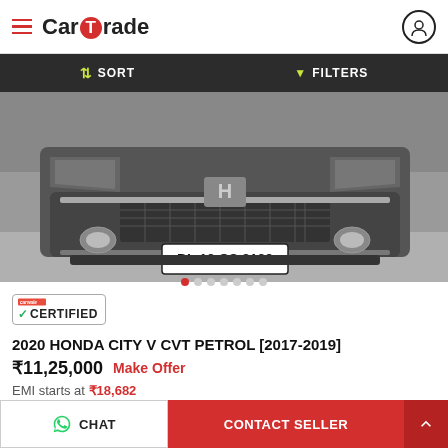[Figure (logo): CarTrade app header with hamburger menu, CarTrade logo with red circle T, and user profile icon]
[Figure (screenshot): Dark toolbar with SORT and FILTERS buttons]
[Figure (photo): Front view of a Honda City car with license plate DL 12 CS 3199]
[Figure (other): Carwale Certified badge with green checkmark]
2020 HONDA CITY V CVT PETROL [2017-2019]
₹11,25,000  Make Offer
EMI starts at ₹18,682
3,352 KMs  |  Petrol  |  Delhi